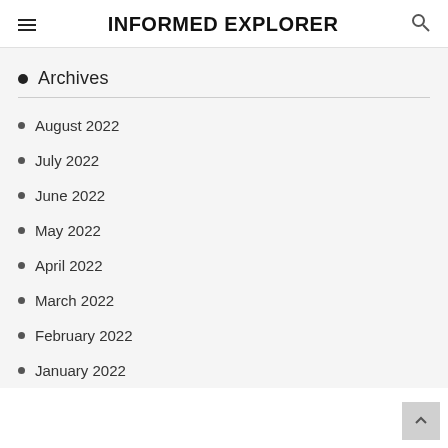INFORMED EXPLORER
Archives
August 2022
July 2022
June 2022
May 2022
April 2022
March 2022
February 2022
January 2022